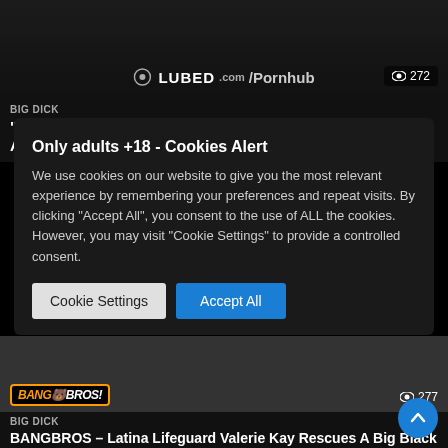[Figure (screenshot): Adult video thumbnail with LUBED.com/Pornhub logo overlay and view count 272]
BIG DICK
“I SAID DONT CUM INSIDE ME ASSHOLE” WITH ATHENA FARIO  LUBED
Only adults +18 - Cookies Alert
We use cookies on our website to give you the most relevant experience by remembering your preferences and repeat visits. By clicking “Accept All”, you consent to the use of ALL the cookies. However, you may visit “Cookie Settings” to provide a controlled consent.
[Figure (screenshot): Adult video thumbnail with BANGBROS logo and view count 277]
BIG DICK
BANGBROS – Latina Lifeguard Valerie Kay Rescues A Big Black Cock